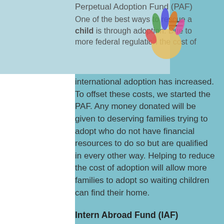Perpetual Adoption Fund (PAF)
One of the best ways to rescue a child is through adoption. Due to more federal regulation the cost of international adoption has increased. To offset these costs, we started the PAF. Any money donated will be given to deserving families trying to adopt who do not have financial resources to do so but are qualified in every other way. Helping to reduce the cost of adoption will allow more families to adopt so waiting children can find their home.
Intern Abroad Fund (IAF)
Children are in need WORLDWIDE! Several programs allow people to help children and struggling populations. Any money donated will help ambitious interns get the opportunity to travel and help these populations of people, including